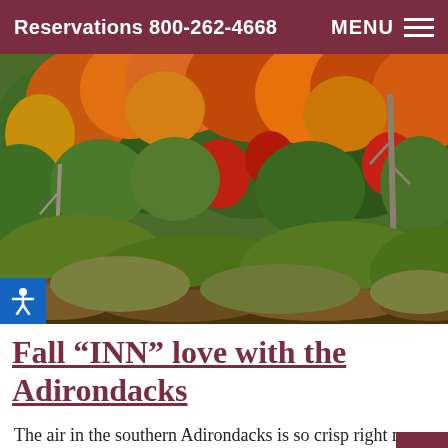Reservations 800-262-4668   MENU
[Figure (photo): Autumn foliage in the Adirondacks showing dense forest with orange, red, yellow, and green trees covering a hillside, with some bare grey trees visible.]
Fall “INN” love with the Adirondacks
The air in the southern Adirondacks is so crisp right now. The color is starting to appear on the trees.